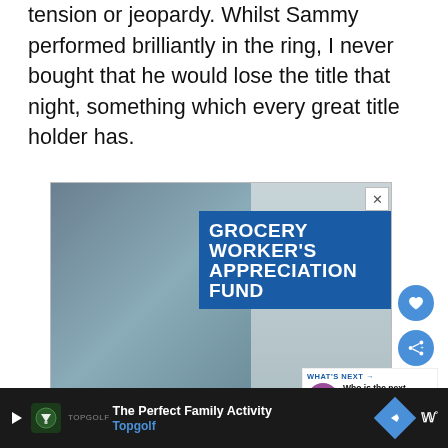tension or jeopardy. Whilst Sammy performed brilliantly in the ring, I never bought that he would lose the title that night, something which every great title holder has.
[Figure (photo): Advertisement for Grocery Worker's Appreciation Fund showing a smiling grocery store worker in an apron at a checkout counter. Overlaid with blue banner text reading 'GROCERY WORKER'S APPRECIATION FUND'. Bottom of ad shows Kendall-Jackson and United Way logos.]
[Figure (screenshot): What's Next panel with circular thumbnail and text: 'Who is the next AEW...']
[Figure (infographic): Bottom advertisement bar on dark background: TopGolf logo, 'The Perfect Family Activity', 'Topgolf' in blue, blue diamond arrow button, wave/music icon.]